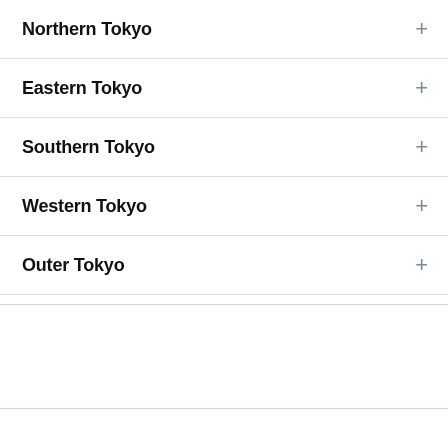Northern Tokyo
Eastern Tokyo
Southern Tokyo
Western Tokyo
Outer Tokyo